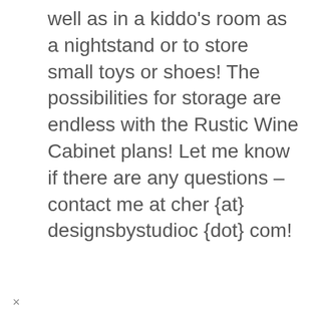well as in a kiddo's room as a nightstand or to store small toys or shoes! The possibilities for storage are endless with the Rustic Wine Cabinet plans! Let me know if there are any questions – contact me at cher {at} designsbystudioc {dot} com!
×